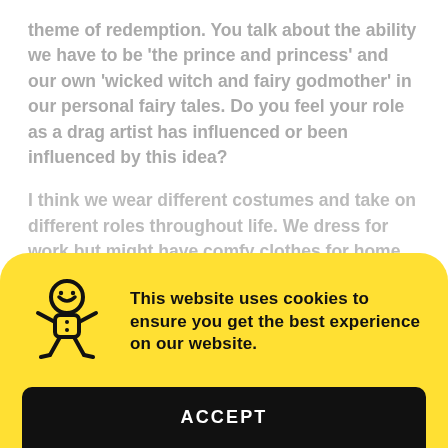theme of redemption. You talk about the ability we have to be 'the prince and princess' and our own 'wicked witch and fairy godmother' in our personal fairy tales. Do you feel your role as a drag artist has influenced or been influenced by this idea?
I think we wear different costumes and take on different roles throughout life. We dress for work but might have comfy clothes for home, we dress to impress on a special occasion but it's only special if it's different to our everyday wear. In some scenarios we see ourselves as the hero, and at other times we have been made to feel like the villain. What I am trying to show is that
This website uses cookies to ensure you get the best experience on our website.
ACCEPT